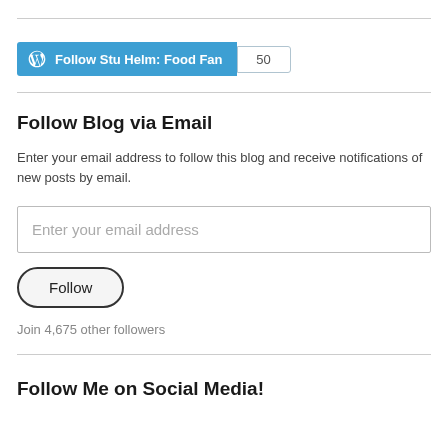[Figure (screenshot): WordPress Follow button for 'Stu Helm: Food Fan' blog with count badge showing 50]
Follow Blog via Email
Enter your email address to follow this blog and receive notifications of new posts by email.
[Figure (screenshot): Email input field with placeholder text 'Enter your email address']
[Figure (screenshot): Follow button with rounded pill shape]
Join 4,675 other followers
Follow Me on Social Media!